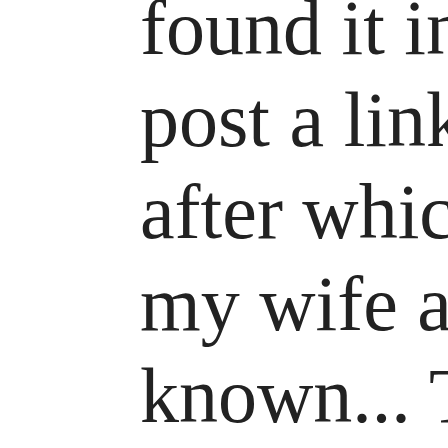found it interesting post a link to hack after which I left my wife and boys known... The artic a few hours and m submerged. 85,00 24 hours... I feel v